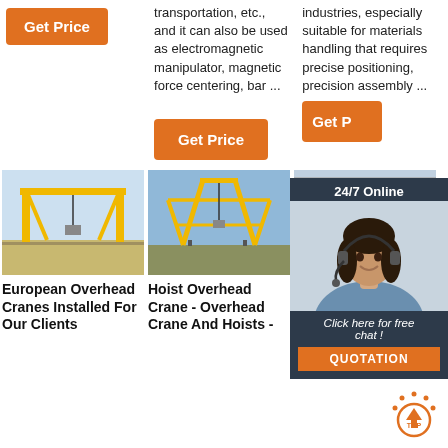transportation, etc., and it can also be used as electromagnetic manipulator, magnetic force centering, bar ...
industries, especially suitable for materials handling that requires precise positioning, precision assembly ...
[Figure (screenshot): Orange Get Price button on left column]
[Figure (screenshot): Orange Get Price button in center column]
[Figure (screenshot): Orange Get Price button (partial) in right column with 24/7 Online chat overlay showing a woman with headset and Quotation button]
[Figure (photo): Yellow gantry/overhead crane outdoors - European Overhead Cranes]
[Figure (photo): Yellow gantry crane structure outdoors - Hoist Overhead Crane]
[Figure (photo): Blue overhead crane inside workshop - Workshop Overhead Crane]
European Overhead Cranes Installed For Our Clients
Hoist Overhead Crane - Overhead Crane And Hoists -
Workshop Overhead Crane - Reliable Overhead Crane